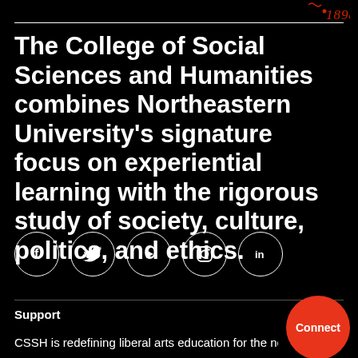[Figure (logo): Northeastern University logo with '1898' in red italic text and a small red decorative squiggle and dot]
The College of Social Sciences and Humanities combines Northeastern University's signature focus on experiential learning with the rigorous study of society, culture, politics, and ethics.
[Figure (infographic): Five social media icons in white circles on black background: Facebook (f), Twitter (bird), YouTube (play button), Instagram (camera), LinkedIn (in)]
Support
[Figure (other): Red circular Connect button]
CSSH is redefining liberal arts education for the next